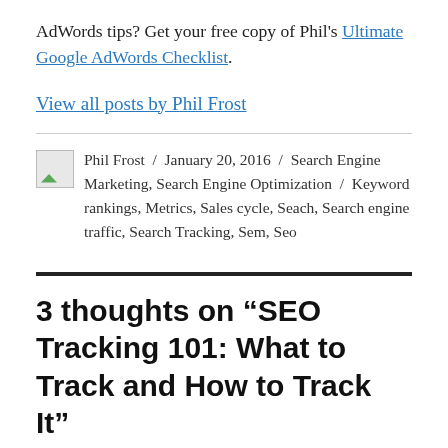AdWords tips? Get your free copy of Phil's Ultimate Google AdWords Checklist.
View all posts by Phil Frost
Phil Frost / January 20, 2016 / Search Engine Marketing, Search Engine Optimization / Keyword rankings, Metrics, Sales cycle, Seach, Search engine traffic, Search Tracking, Sem, Seo
3 thoughts on “SEO Tracking 101: What to Track and How to Track It”